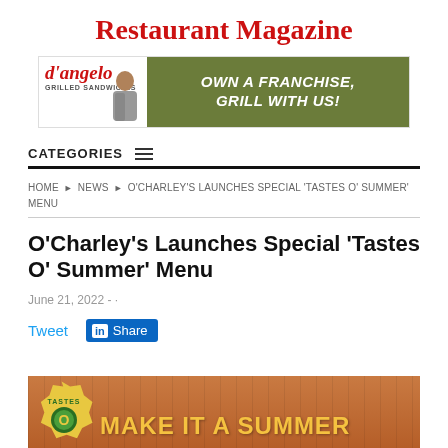Restaurant Magazine
[Figure (illustration): D'Angelo Grilled Sandwiches franchise advertisement banner. Left side shows D'Angelo logo with a person image. Right side has olive/green background with text 'OWN A FRANCHISE. GRILL WITH US!']
CATEGORIES
HOME › NEWS › O'CHARLEY'S LAUNCHES SPECIAL 'TASTES O' SUMMER' MENU
O'Charley's Launches Special 'Tastes O' Summer' Menu
June 21, 2022 - ·
Tweet    Share
[Figure (illustration): Bottom portion of a promotional image for O'Charley's 'Tastes O' Summer' menu showing a wooden background, a circular logo/badge on the left, and yellow text reading 'MAKE IT A SUMMER']